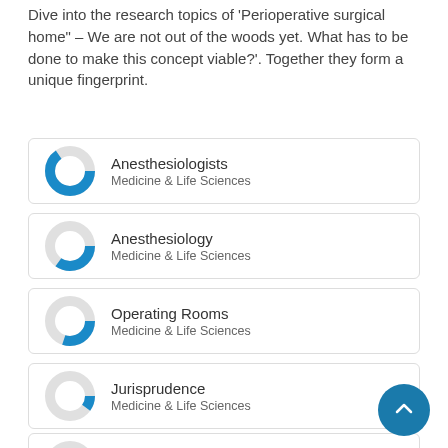Dive into the research topics of 'Perioperative surgical home' – We are not out of the woods yet. What has to be done to make this concept viable?'. Together they form a unique fingerprint.
Anesthesiologists — Medicine & Life Sciences
Anesthesiology — Medicine & Life Sciences
Operating Rooms — Medicine & Life Sciences
Jurisprudence — Medicine & Life Sciences
Communication — Medicine & Life Sciences